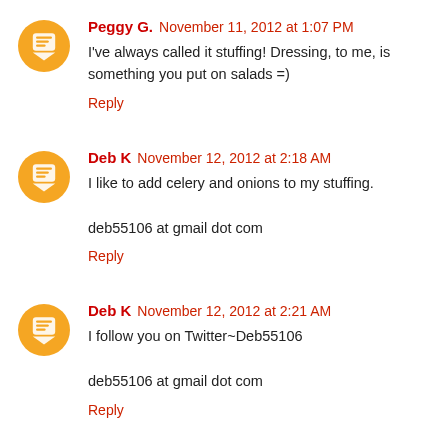Peggy G. November 11, 2012 at 1:07 PM
I've always called it stuffing! Dressing, to me, is something you put on salads =)
Reply
Deb K November 12, 2012 at 2:18 AM
I like to add celery and onions to my stuffing.
deb55106 at gmail dot com
Reply
Deb K November 12, 2012 at 2:21 AM
I follow you on Twitter~Deb55106
deb55106 at gmail dot com
Reply